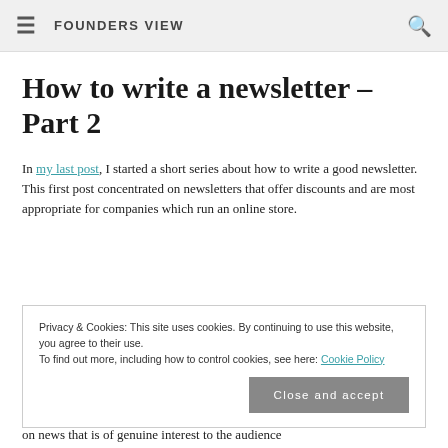FOUNDERS VIEW
How to write a newsletter – Part 2
In my last post, I started a short series about how to write a good newsletter. This first post concentrated on newsletters that offer discounts and are most appropriate for companies which run an online store.
Privacy & Cookies: This site uses cookies. By continuing to use this website, you agree to their use.
To find out more, including how to control cookies, see here: Cookie Policy
Close and accept
on news that is of genuine interest to the audience